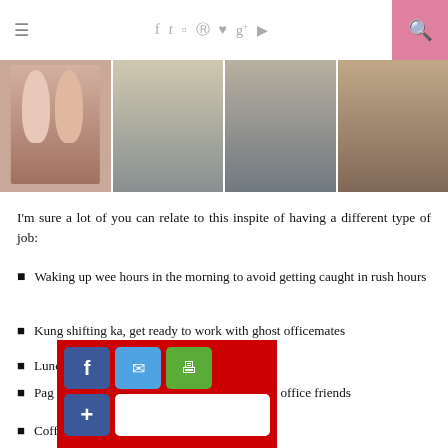≡  f  t  ☐  ⊕  ♥  g+  ▶  🔍
[Figure (photo): Four photos side by side: two women posing, two people cooking, street scene with people walking, group of people at a restaurant table]
I'm sure a lot of you can relate to this inspite of having a different type of job:
Waking up wee hours in the morning to avoid getting caught in rush hours
Kung shifting ka, get ready to work with ghost officemates
Lunch break
Pag swe[...]with your office friends
Coffee b[...]
[Figure (other): Social share overlay with red background containing Facebook, email/mail, print buttons and a plus/addthis button with white input box]